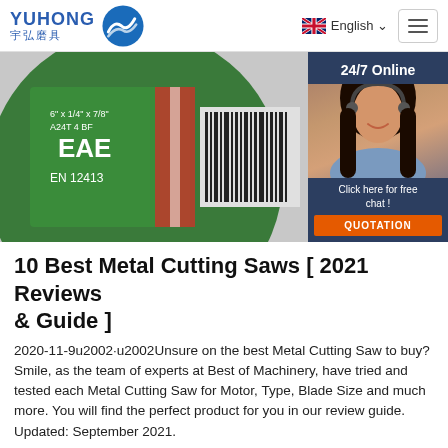YUHONG 宇弘磨具 | English
[Figure (photo): Close-up of a green metal cutting disc/grinding wheel with EAC certification mark and EN 12413 marking, barcodes visible on right side. Overlaid with a 24/7 Online chat widget showing a woman with a headset on dark blue background, with 'Click here for free chat!' and orange QUOTATION button.]
10 Best Metal Cutting Saws [ 2021 Reviews & Guide ]
2020-11-9u2002·u2002Unsure on the best Metal Cutting Saw to buy? Smile, as the team of experts at Best of Machinery, have tried and tested each Metal Cutting Saw for Motor, Type, Blade Size and much more. You will find the perfect product for you in our review guide. Updated: September 2021.